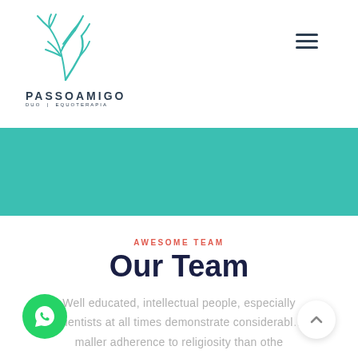[Figure (logo): Passoamigo logo with stylized teal horse/tree and text PASSOAMIGO Duo | Equoterapia]
PASSOAMIGO
DUO  |  EQUOTERAPIA
[Figure (illustration): Teal/turquoise banner strip]
AWESOME TEAM
Our Team
Well educated, intellectual people, especially scientists at all times demonstrate considerabl.. maller adherence to religiosity than othe